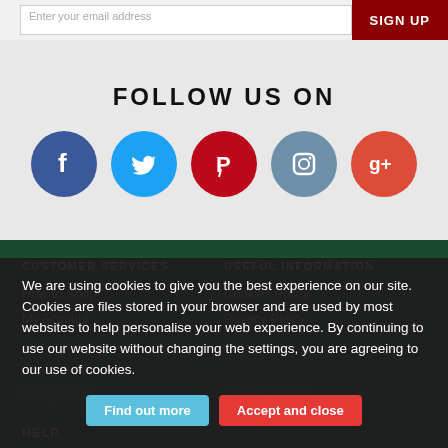[Figure (screenshot): Email input field with dark red SIGN UP button on the right]
FOLLOW US ON
[Figure (infographic): Five social media icons in circles: Facebook (blue), Twitter (light blue), Pinterest (red), Instagram (slate blue), Google+ (orange-red)]
CUSTOMER SERVICES
USEFUL INFORMATION
How to Shop
Cookies Policy
My Account
Privacy Policy
Words and Whispers - BLOG
Security
Testimonials
Competitions
Charity support
HELP
We are using cookies to give you the best experience on our site. Cookies are files stored in your browser and are used by most websites to help personalise your web experience. By continuing to use our website without changing the settings, you are agreeing to our use of cookies.